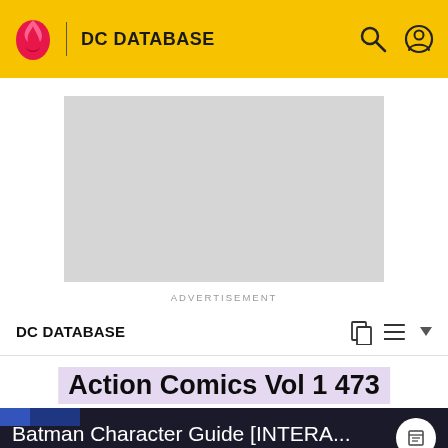DC DATABASE
[Figure (screenshot): Advertisement placeholder box, gray rectangle]
ADVERTISEMENT
DC DATABASE
Action Comics Vol 1 473
[Figure (screenshot): Batman Character Guide [INTERA... video thumbnail showing Batman logo on dark screen]